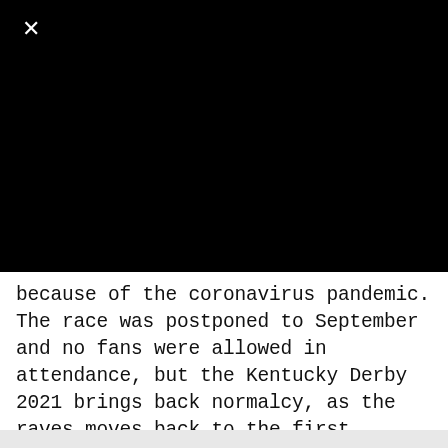[Figure (screenshot): Black rectangular area representing a video or image player with a close (X) button in the top-left corner]
because of the coronavirus pandemic. The race was postponed to September and no fans were allowed in attendance, but the Kentucky Derby 2021 brings back normalcy, as the raves moves back to the first Saturday in May. Post time is set for 6:57 p.m. ET